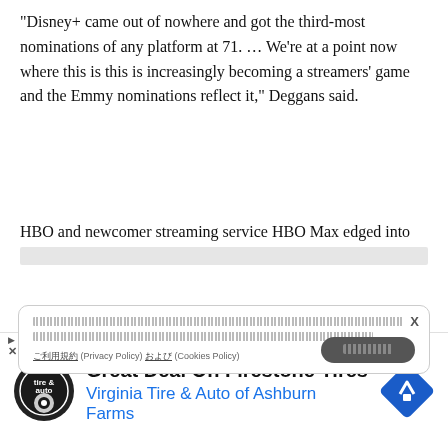“Disney+ came out of nowhere and got the third-most nominations of any platform at 71. … We’re at a point now where this is this is increasingly becoming a streamers’ game and the Emmy nominations reflect it,” Deggans said.
HBO and newcomer streaming service HBO Max edged into the lead with 130 total nominations, with Netflix close on its
[Figure (other): Cookie consent banner overlay with blurred/redacted text, a close button X, and a dark rounded accept button]
The frontrunner on the comedy side is the good-hearted “Ted Lasso,” about a middling American football coach imported to England to handle a soccer team. The Apple TV+ series
[Figure (other): Advertisement banner for Virginia Tire & Auto of Ashburn Farms - Great Deal On Firestone Tires, with logo and road sign icon]